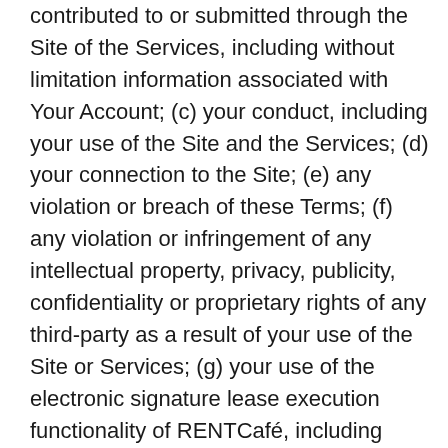contributed to or submitted through the Site of the Services, including without limitation information associated with Your Account; (c) your conduct, including your use of the Site and the Services; (d) your connection to the Site; (e) any violation or breach of these Terms; (f) any violation or infringement of any intellectual property, privacy, publicity, confidentiality or proprietary rights of any third-party as a result of your use of the Site or Services; (g) your use of the electronic signature lease execution functionality of RENTCafé, including without limitation, the sufficiency of an electronic signature or the enforceability of an electronically signed lease; or (h) your use of RENTCafé Resident Services voice activated commands via third parties including but not limited to Amazon Alexa and Echo services (collectively, the “Claims”). You are solely